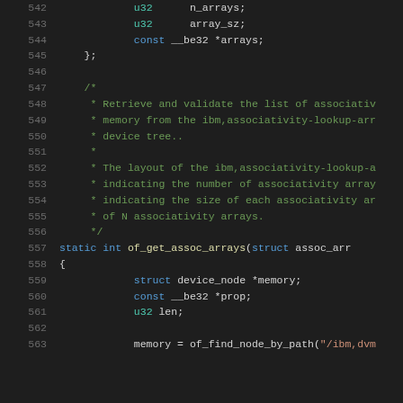[Figure (screenshot): Source code snippet (C language) showing lines 542-563 of a kernel/systems file. Dark background code editor view with syntax highlighting. Lines include struct member declarations (u32 n_arrays, u32 array_sz, const __be32 *arrays), a closing brace, a multi-line block comment about retrieving and validating associativity arrays from device tree, and a static function definition of_get_assoc_arrays with local variable declarations.]